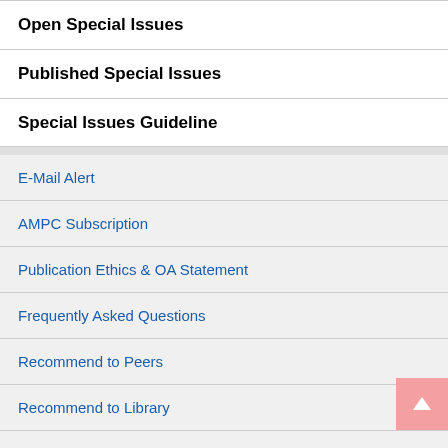Open Special Issues
Published Special Issues
Special Issues Guideline
E-Mail Alert
AMPC Subscription
Publication Ethics & OA Statement
Frequently Asked Questions
Recommend to Peers
Recommend to Library
Contact us